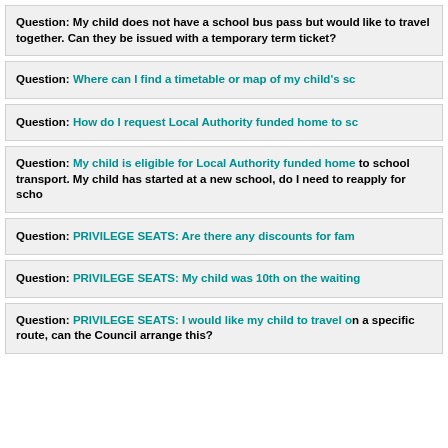Question: My child does not have a school bus pass but would like to travel together. Can they be issued with a temporary term ticket?
Question: Where can I find a timetable or map of my child's school bus route?
Question: How do I request Local Authority funded home to school transport?
Question: My child is eligible for Local Authority funded home to school transport. My child has started at a new school, do I need to reapply for school transport?
Question: PRIVILEGE SEATS: Are there any discounts for families?
Question: PRIVILEGE SEATS: My child was 10th on the waiting list...
Question: PRIVILEGE SEATS: I would like my child to travel on a specific route, can the Council arrange this?